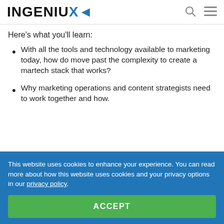INGENIUX
Here's what you'll learn:
With all the tools and technology available to marketing today, how do move past the complexity to create a martech stack that works?
Why marketing operations and content strategists need to work together and how.
This website uses cookies to enhance your experience. You can read more about how this website uses cookies and your privacy options in our privacy policy.
ACCEPT